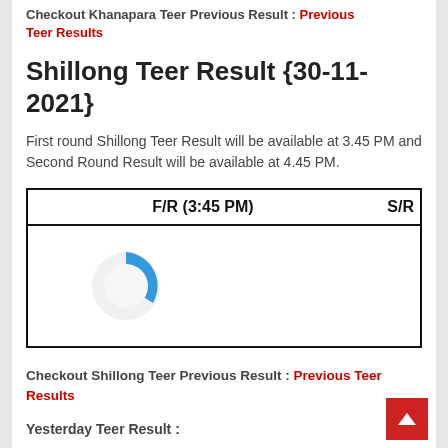Checkout Khanapara Teer Previous Result : Previous Teer Results
Shillong Teer Result {30-11-2021}
First round Shillong Teer Result will be available at 3.45 PM and Second Round Result will be available at 4.45 PM.
| F/R (3:45 PM) | S/R |
| --- | --- |
|  |  |
Checkout Shillong Teer Previous Result : Previous Teer Results
Yesterday Teer Result :